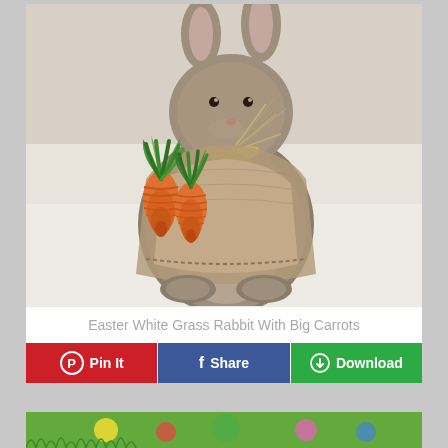[Figure (photo): A decorative Easter bunny figurine made of burlap/fur fabric, holding two orange carrots with green tops, tied with raffia ribbon around its neck. Photographed on a white textured surface.]
Easter White Grass Rabbit With Big Carrots
Pin It
Share
Download
[Figure (photo): Partial view of another Easter-themed image visible at the bottom of the page, showing green grass and colorful elements.]